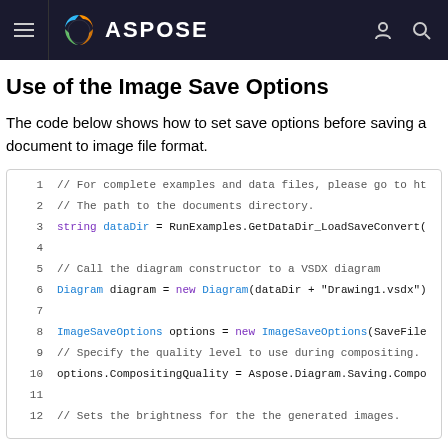ASPOSE
Use of the Image Save Options
The code below shows how to set save options before saving a document to image file format.
[Figure (screenshot): Code block showing C# code for setting image save options. Lines 1-12 are visible. Line 1: // For complete examples and data files, please go to ht. Line 2: // The path to the documents directory. Line 3: string dataDir = RunExamples.GetDataDir_LoadSaveConvert(. Line 4: (empty). Line 5: // Call the diagram constructor to a VSDX diagram. Line 6: Diagram diagram = new Diagram(dataDir + "Drawing1.vsdx"). Line 7: (empty). Line 8: ImageSaveOptions options = new ImageSaveOptions(SaveFile. Line 9: // Specify the quality level to use during compositing. Line 10: options.CompositingQuality = Aspose.Diagram.Saving.Compo. Line 11: (empty). Line 12: // Sets the brightness for the the generated images.]